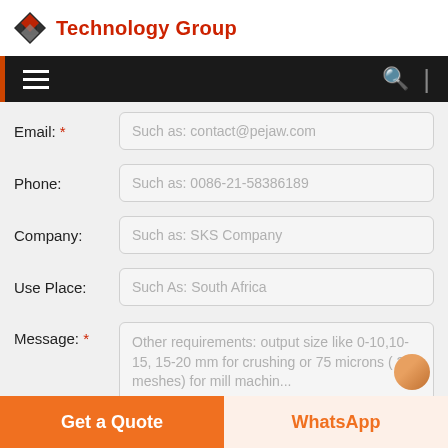Technology Group
[Figure (logo): Diamond-shaped logo with red and dark facets]
Email: (required) Such as: contact@pejaw.com
Phone: Such as: 0086-21-58386189
Company: Such as: SKS Company
Use Place: Such As: South Africa
Message: (required) Other requirements: output size like 0-10,10-15, 15-20 mm for crushing or 75 microns ( 200 meshes) for mill machin...
Get a Quote
WhatsApp